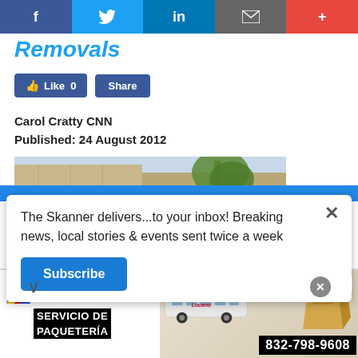f  Twitter  in  email  +
Removals
[Figure (screenshot): Facebook Like and Share buttons]
Carol Cratty CNN
Published: 24 August 2012
[Figure (photo): Outdoor scene with stone building and trees]
The Skanner delivers...to your inbox! Breaking news, local stories & events sent twice a week
Subscribe
[Figure (photo): Autobuses Lucano advertisement: SERVICIO DE PAQUETERÍA 832-798-9608]